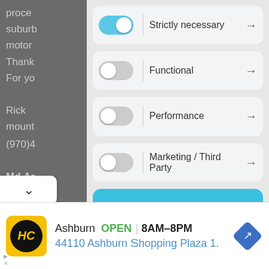proce
suburb
motor
Thank
For yo

Rick
mount
(970)4

Md.Ar

Help m
[Figure (screenshot): Cookie consent modal with four toggle rows: Strictly necessary (ON/blue), Functional (OFF), Performance (OFF), Marketing / Third Party (OFF). Below the toggles is a blue 'Accept all' button and a partially visible 'Accept only selected' button.]
[Figure (infographic): Advertisement banner for HC (Haul Check or similar) showing Ashburn location, OPEN status, hours 8AM-8PM, address 44110 Ashburn Shopping Plaza 1., with yellow logo and blue navigation arrow icon.]